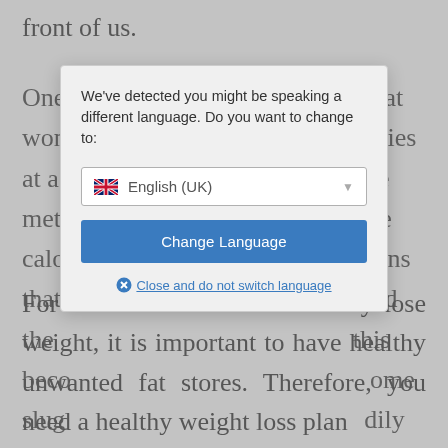front of us.
One [obscured by modal] that won[obscured] ories at a[obscured] the meta[obscured] the calo[obscured] eans that[obscured] and the [obscured] this beco[obscured] ome slug[obscured] dily decr[obscured]
[Figure (screenshot): Language selection modal dialog with message 'We've detected you might be speaking a different language. Do you want to change to:' with a dropdown showing 'English (UK)' with a UK flag, a blue 'Change Language' button, and a 'Close and do not switch language' link.]
For most women to successfully lose weight, it is important to have healthy unwanted fat stores. Therefore, you need a healthy weight loss plan